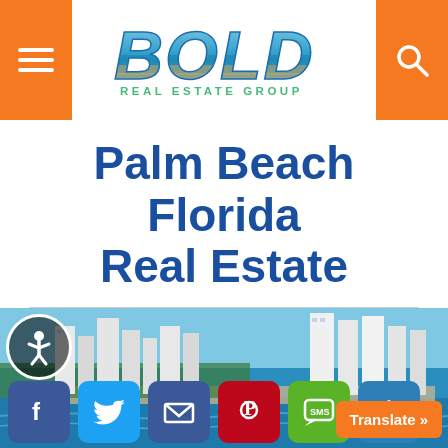[Figure (logo): Bold Real Estate Group logo with beach photo inside letters and teal subtitle text]
Palm Beach Florida Real Estate
[Figure (photo): Aerial photograph of Palm Beach Florida coastline with high-rise buildings and ocean]
[Figure (infographic): Social sharing bar with Facebook, Twitter, Email, Pinterest, SMS, and Plus buttons, plus an orange Translate button]